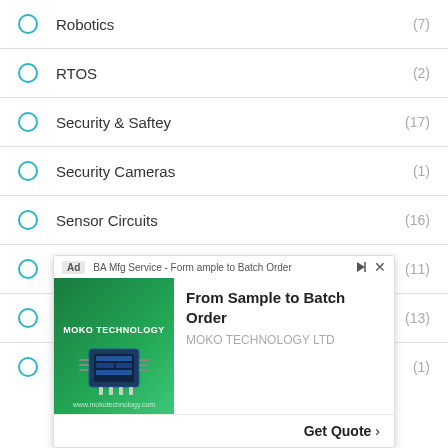Robotics (7)
RTOS (2)
Security & Saftey (17)
Security Cameras (1)
Sensor Circuits (16)
Signal Conditioners (11)
Signal Generators (13)
Speed Controller Circuits (1)
[Figure (other): Advertisement banner for MOKO TECHNOLOGY - From Sample to Batch Order with Get Quote CTA]